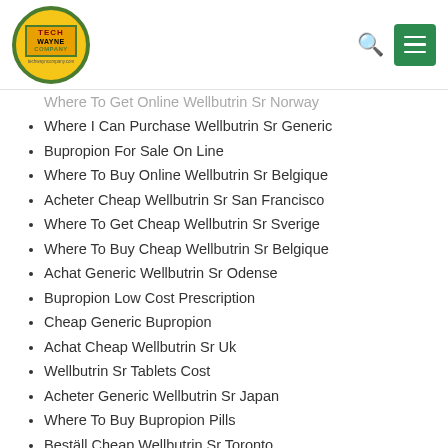Tech Wayne Company — navigation header with logo, search icon, and menu button
Where To Get Online Wellbutrin Sr Norway
Where I Can Purchase Wellbutrin Sr Generic
Bupropion For Sale On Line
Where To Buy Online Wellbutrin Sr Belgique
Acheter Cheap Wellbutrin Sr San Francisco
Where To Get Cheap Wellbutrin Sr Sverige
Where To Buy Cheap Wellbutrin Sr Belgique
Achat Generic Wellbutrin Sr Odense
Bupropion Low Cost Prescription
Cheap Generic Bupropion
Achat Cheap Wellbutrin Sr Uk
Wellbutrin Sr Tablets Cost
Acheter Generic Wellbutrin Sr Japan
Where To Buy Bupropion Pills
Beställ Cheap Wellbutrin Sr Toronto